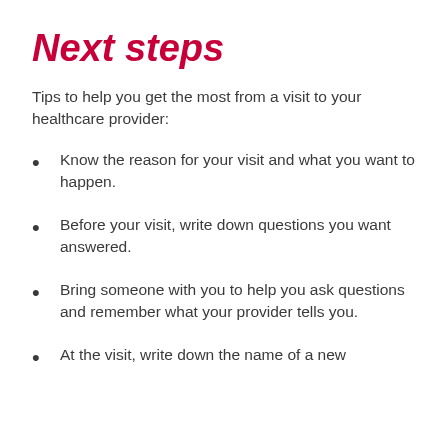Next steps
Tips to help you get the most from a visit to your healthcare provider:
Know the reason for your visit and what you want to happen.
Before your visit, write down questions you want answered.
Bring someone with you to help you ask questions and remember what your provider tells you.
At the visit, write down the name of a new